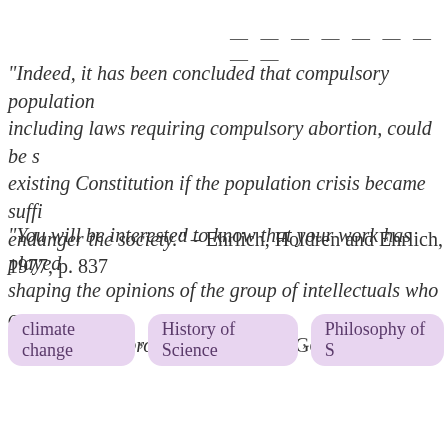————————
“Indeed, it has been concluded that compulsory population-control laws, including laws requiring compulsory abortion, could be supported by our existing Constitution if the population crisis became sufficiently severe to endanger the society.” – Ehrlich, Holdren and Ehrlich, 1977, p. 837
“You will be interested to know that your work has played a part in shaping the opinions of the group of intellectuals who are behind this epoch-making program.” – Charles Goethe, letter to E…
climate change ,   History of Science ,   Philosophy of S…